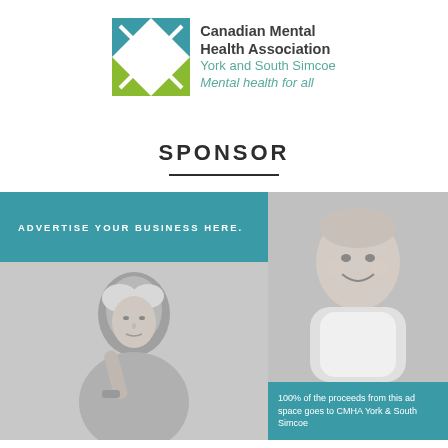[Figure (logo): Canadian Mental Health Association York and South Simcoe logo with teal and green geometric icon]
SPONSOR
[Figure (infographic): Sponsor advertisement block: left side has teal header 'ADVERTISE YOUR BUSINESS HERE.' with a grayscale photo of an elderly woman below; right side has a grayscale photo of a smiling baby with a teal caption band reading '100% of the proceeds from this ad space goes to CMHA York & South Simcoe']